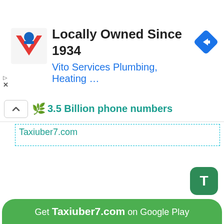[Figure (screenshot): Ad banner for Vito Services Plumbing, Heating with logo and navigation icon. Text: Locally Owned Since 1934, Vito Services Plumbing, Heating …]
3.5 Billion phone numbers
Taxiuber7.com
[Figure (logo): Green rounded square button with white T letter]
Get Taxiuber7.com on Google Play